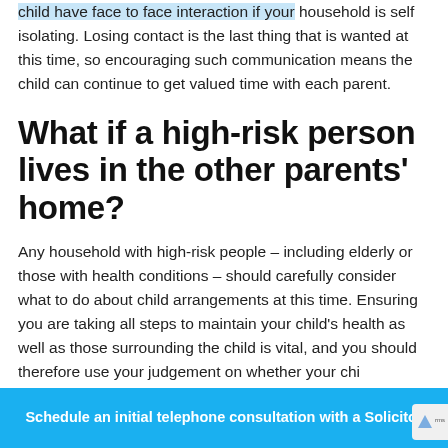child have face to face interaction if your household is self isolating. Losing contact is the last thing that is wanted at this time, so encouraging such communication means the child can continue to get valued time with each parent.
What if a high-risk person lives in the other parents' home?
Any household with high-risk people – including elderly or those with health conditions – should carefully consider what to do about child arrangements at this time. Ensuring you are taking all steps to maintain your child's health as well as those surrounding the child is vital, and you should therefore use your judgement on whether your chi...
Schedule an initial telephone consultation with a Solicitor